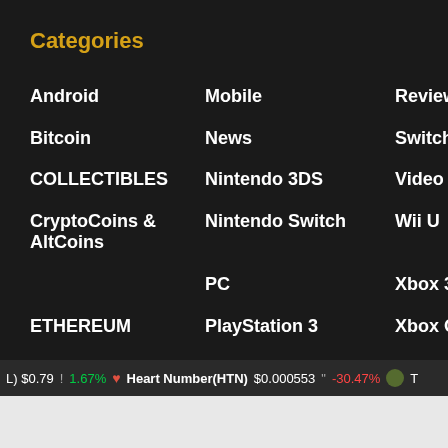Categories
Android
Mobile
Reviews
Bitcoin
News
Switch
COLLECTIBLES
Nintendo 3DS
Video
CryptoCoins & AltCoins
Nintendo Switch
Wii U
PC
Xbox 360
ETHEREUM
PlayStation 3
Xbox One
GAMING
PlayStation Vita
Xbox One
Iphone
PS4
Xbox Series
METAVERSE
L) $0.79 ! 1.67% Heart Number(HTN) $0.000553 " -30.47% T